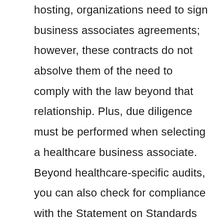hosting, organizations need to sign business associates agreements; however, these contracts do not absolve them of the need to comply with the law beyond that relationship. Plus, due diligence must be performed when selecting a healthcare business associate. Beyond healthcare-specific audits, you can also check for compliance with the Statement on Standards for Attestation Engagements 18, aka SSAE 18 (formerly SSAE 16), a widely recognized way to audit systems developed by the American Institute of Certified Public Accountants. The